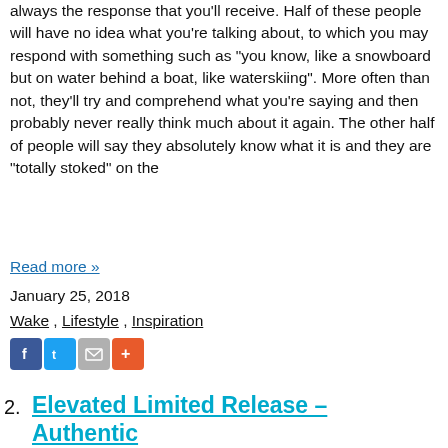always the response that you'll receive. Half of these people will have no idea what you're talking about, to which you may respond with something such as "you know, like a snowboard but on water behind a boat, like waterskiing". More often than not, they'll try and comprehend what you're saying and then probably never really think much about it again. The other half of people will say they absolutely know what it is and they are "totally stoked" on the
Read more »
January 25, 2018
Wake , Lifestyle , Inspiration
[Figure (infographic): Social share icons: Facebook (blue), Twitter (light blue), Email (grey), More (orange/red)]
2. Elevated Limited Release – Authentic